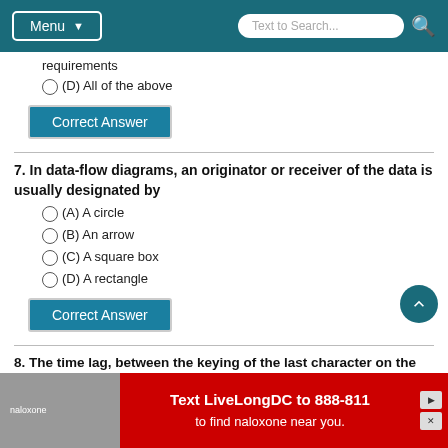Menu | Text to Search...
requirements
(D) All of the above
Correct Answer
7. In data-flow diagrams, an originator or receiver of the data is usually designated by
(A) A circle
(B) An arrow
(C) A square box
(D) A rectangle
Correct Answer
8. The time lag, between the keying of the last character on the keyboard
[Figure (other): Advertisement banner: Text LiveLongDC to 888-811 to find naloxone near you. Red background with image of naloxone nasal spray.]